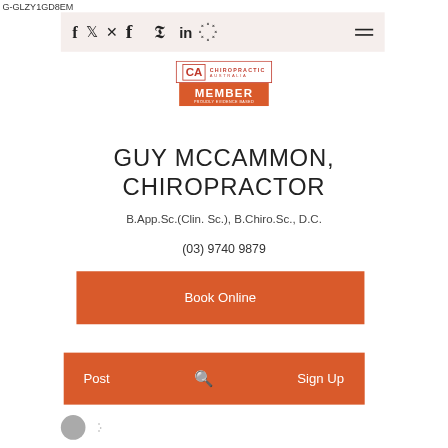G-GLZY1GD8EM
[Figure (logo): Chiropractic Australia Member badge logo with red border and orange MEMBER text]
GUY MCCAMMON, CHIROPRACTOR
B.App.Sc.(Clin. Sc.), B.Chiro.Sc., D.C.
(03) 9740 9879
Book Online
Post
Sign Up